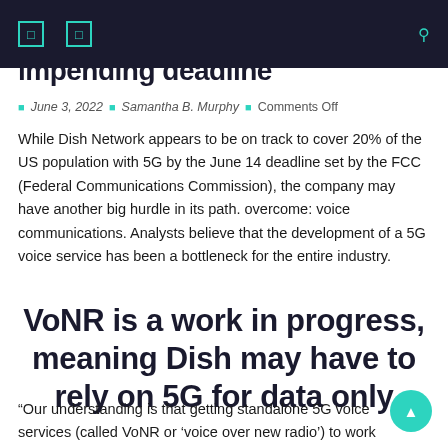Navigation bar with icons and search
impending deadline
June 3, 2022 | Samantha B. Murphy | Comments Off
While Dish Network appears to be on track to cover 20% of the US population with 5G by the June 14 deadline set by the FCC (Federal Communications Commission), the company may have another big hurdle in its path. overcome: voice communications. Analysts believe that the development of a 5G voice service has been a bottleneck for the entire industry.
VoNR is a work in progress, meaning Dish may have to rely on 5G for data only
“Our understanding is that getting standalone 5G voice services (called VoNR or ‘voice over new radio’) to work